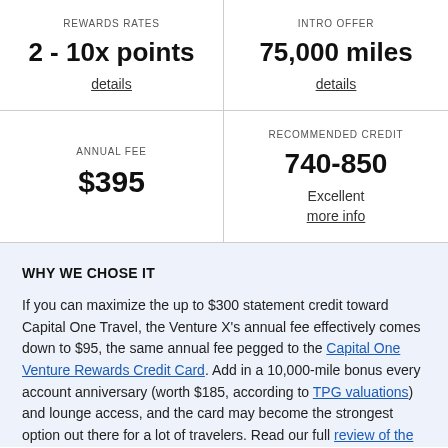| REWARDS RATES | INTRO OFFER |
| --- | --- |
| 2 - 10x points | 75,000 miles |
| details | details |
| ANNUAL FEE | RECOMMENDED CREDIT |
| --- | --- |
| $395 | 740-850
Excellent
more info |
WHY WE CHOSE IT
If you can maximize the up to $300 statement credit toward Capital One Travel, the Venture X's annual fee effectively comes down to $95, the same annual fee pegged to the Capital One Venture Rewards Credit Card. Add in a 10,000-mile bonus every account anniversary (worth $185, according to TPG valuations) and lounge access, and the card may become the strongest option out there for a lot of travelers. Read our full review of the